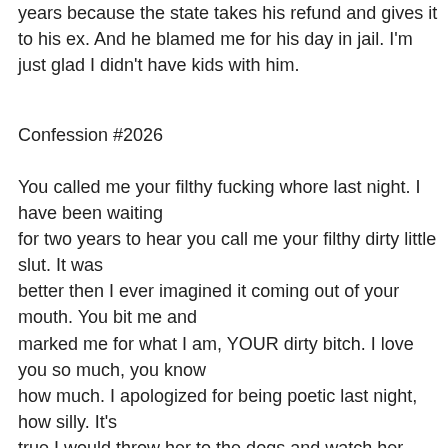years because the state takes his refund and gives it to his ex. And he blamed me for his day in jail. I'm just glad I didn't have kids with him.
Confession #2026
You called me your filthy fucking whore last night. I have been waiting
for two years to hear you call me your filthy dirty little slut. It was
better then I ever imagined it coming out of your mouth. You bit me and
marked me for what I am, YOUR dirty bitch. I love you so much, you know
how much. I apologized for being poetic last night, how silly. It's
true I would throw her to the dogs and watch her hurt for you, even
though I know you would never ask me to do that. I know that you want
me to be able to be with her, but it hurts you. As of this morning she